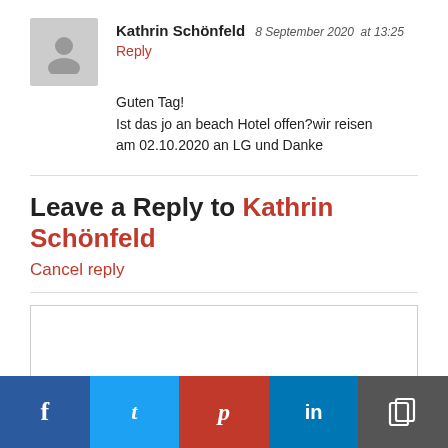Kathrin Schönfeld 8 September 2020 at 13:25
Reply
Guten Tag!
Ist das jo an beach Hotel offen?wir reisen am 02.10.2020 an LG und Danke
Leave a Reply to Kathrin Schönfeld
Cancel reply
[Figure (other): Text input textarea box for reply comment]
[Figure (infographic): Social share bar with Facebook, Twitter, Pinterest, LinkedIn, and Copy buttons]